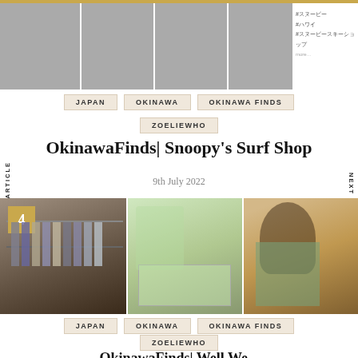[Figure (photo): Top photo strip showing clothing store interior images and a sidebar with Japanese hashtags]
JAPAN
OKINAWA
OKINAWA FINDS
ZOELIEWHO
OkinawaFinds| Snoopy's Surf Shop
9th July 2022
[Figure (photo): Bottom photo strip with three images: clothing rack, store merchandise display, and mannequin with hat. Number badge '4' in top left.]
JAPAN
OKINAWA
OKINAWA FINDS
ZOELIEWHO
OkinawaFinds| Well We...